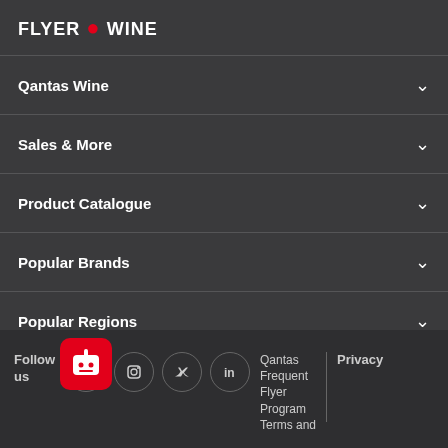FLYER [logo] WINE
Qantas Wine
Sales & More
Product Catalogue
Popular Brands
Popular Regions
Follow us | Facebook | Instagram | Twitter | LinkedIn | Qantas Frequent Flyer Program Terms and | Privacy